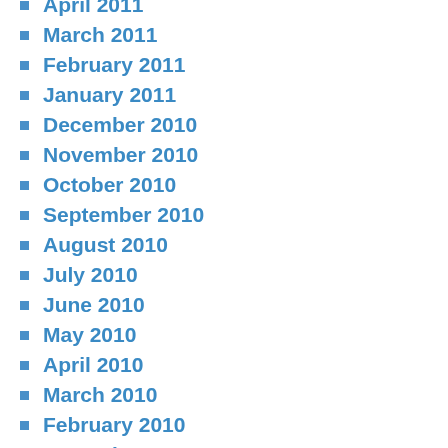April 2011
March 2011
February 2011
January 2011
December 2010
November 2010
October 2010
September 2010
August 2010
July 2010
June 2010
May 2010
April 2010
March 2010
February 2010
December 2009
November 2009
October 2009
September 2009
August 2009
July 2009
June 2009